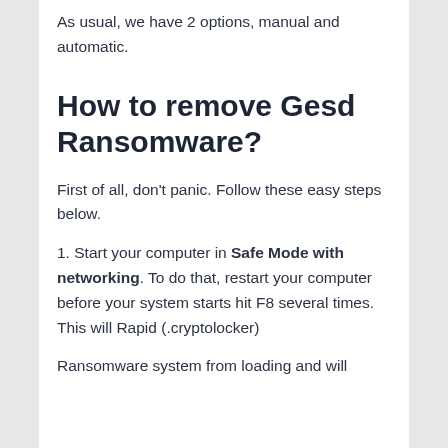As usual, we have 2 options, manual and automatic.
How to remove Gesd Ransomware?
First of all, don't panic. Follow these easy steps below.
1. Start your computer in Safe Mode with networking. To do that, restart your computer before your system starts hit F8 several times. This will Rapid (.cryptolocker)
Ransomware system from loading and will